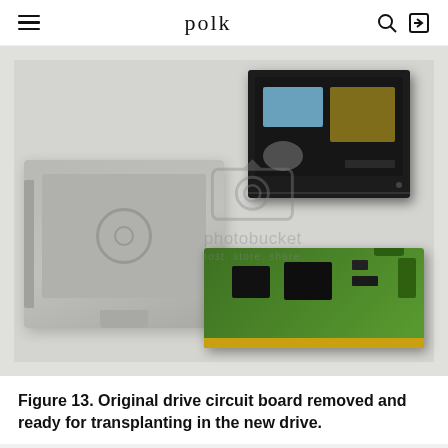polk
[Figure (photo): Disassembled hard disk drive showing three components: a black hard drive enclosure with internal components visible (top right), a gray plastic drive tray/bracket (left center), and a green circuit board removed from the drive (bottom right). A Photobucket watermark with camera icon and 'host. store. share.' text overlays the image.]
Figure 13. Original drive circuit board removed and ready for transplanting in the new drive.